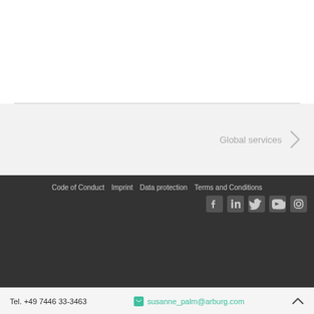Global services
Code of Conduct  Imprint  Data protection  Terms and Conditions
Tel. +49 7446 33-3463  susanne_palm@arburg.com